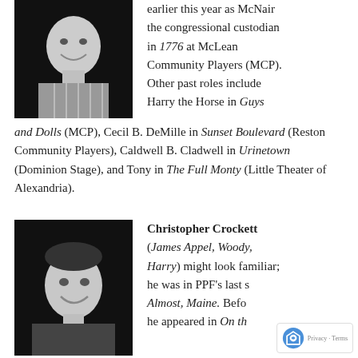[Figure (photo): Black and white headshot of a man smiling, wearing a striped shirt, against a dark background.]
earlier this year as McNair the congressional custodian in 1776 at McLean Community Players (MCP). Other past roles include Harry the Horse in Guys and Dolls (MCP), Cecil B. DeMille in Sunset Boulevard (Reston Community Players), Caldwell B. Cladwell in Urinetown (Dominion Stage), and Tony in The Full Monty (Little Theater of Alexandria).
[Figure (photo): Black and white headshot of a young man smiling, against a dark background.]
Christopher Crockett (James Appel, Woody, Harry) might look familiar; he was in PPF's last s... Almost, Maine. Befo... he appeared in On th...